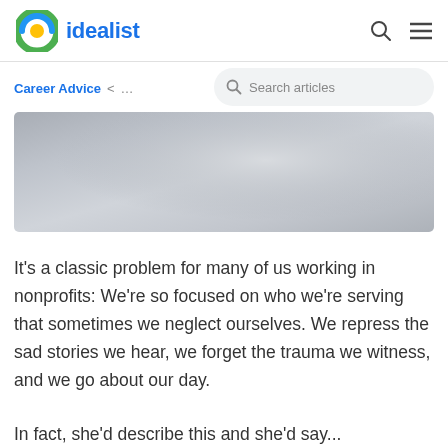idealist
Career Advice  <  ...
[Figure (screenshot): Blurred/gradient hero image placeholder, grey tones]
It’s a classic problem for many of us working in nonprofits: We’re so focused on who we’re serving that sometimes we neglect ourselves. We repress the sad stories we hear, we forget the trauma we witness, and we go about our day.
In fact, she’d describe this and she’d say...